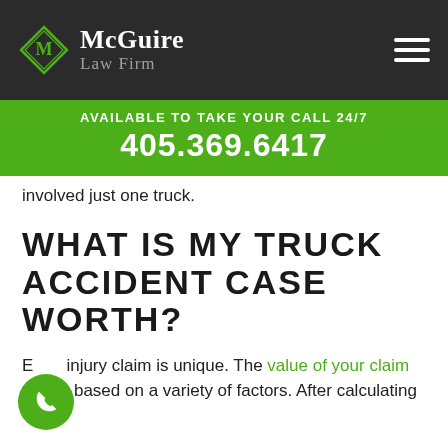[Figure (logo): McGuire Law Firm logo with diamond shape containing letter M and firm name]
AVAILABLE TO TAKE YOUR CALL 24/7
405.369.6417
involved just one truck.
WHAT IS MY TRUCK ACCIDENT CASE WORTH?
Every injury claim is unique. The value of your claim will be based on a variety of factors. After calculating